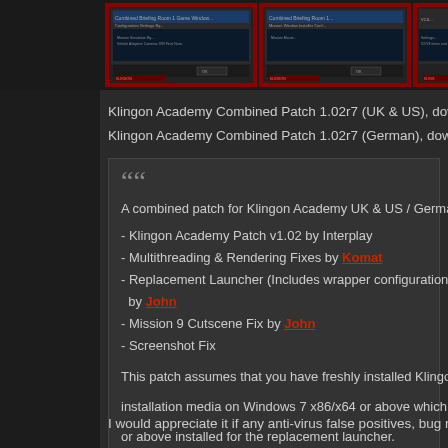[Figure (screenshot): Three screenshot thumbnails of game/software with dark borders and red frames at top of page]
Klingon Academy Combined Patch 1.02r7 (UK & US), downlo
Klingon Academy Combined Patch 1.02r7 (German), downloa
““
A combined patch for Klingon Academy UK & US / German

- Klingon Academy Patch v1.02 by Interplay
- Multithreading & Rendering Fixes by Komat
- Replacement Launcher (Includes wrapper configuration, m by John
- Mission 9 Cutscene Fix by John
- Screenshot Fix

This patch assumes that you have freshly installed Klingon A installation media on Windows 7 x86/x64 or above which als or above installed for the replacement launcher.
I would appreciate it if any anti-virus false positives, bug repor